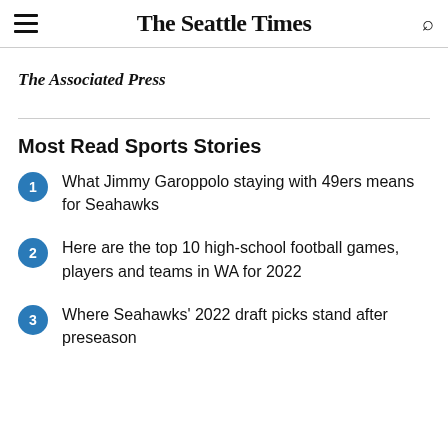The Seattle Times
The Associated Press
Most Read Sports Stories
What Jimmy Garoppolo staying with 49ers means for Seahawks
Here are the top 10 high-school football games, players and teams in WA for 2022
Where Seahawks' 2022 draft picks stand after preseason